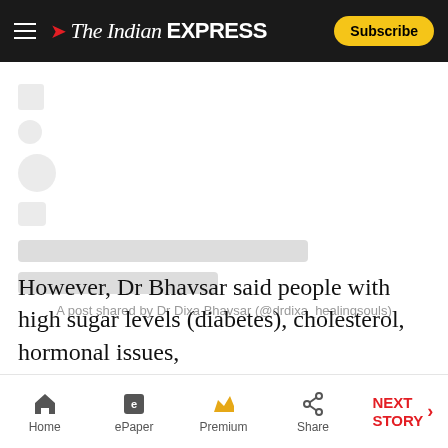The Indian EXPRESS — Subscribe
[Figure (screenshot): Blurred/loading Instagram embed with social share icons on the left side and two gray placeholder loading bars below]
A post shared by Dr Dixa Bhavsar (@drdixa_healingsouls)
However, Dr Bhavsar said people with high sugar levels (diabetes), cholesterol, hormonal issues,
Home | ePaper | Premium | Share | NEXT STORY →